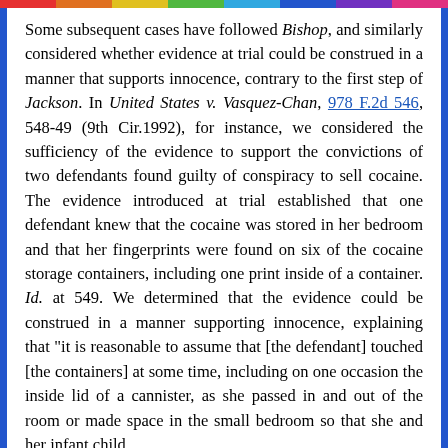Some subsequent cases have followed Bishop, and similarly considered whether evidence at trial could be construed in a manner that supports innocence, contrary to the first step of Jackson. In United States v. Vasquez-Chan, 978 F.2d 546, 548-49 (9th Cir.1992), for instance, we considered the sufficiency of the evidence to support the convictions of two defendants found guilty of conspiracy to sell cocaine. The evidence introduced at trial established that one defendant knew that the cocaine was stored in her bedroom and that her fingerprints were found on six of the cocaine storage containers, including one print inside of a container. Id. at 549. We determined that the evidence could be construed in a manner supporting innocence, explaining that "it is reasonable to assume that [the defendant] touched [the containers] at some time, including on one occasion the inside lid of a cannister, as she passed in and out of the room or made space in the small bedroom so that she and her infant child